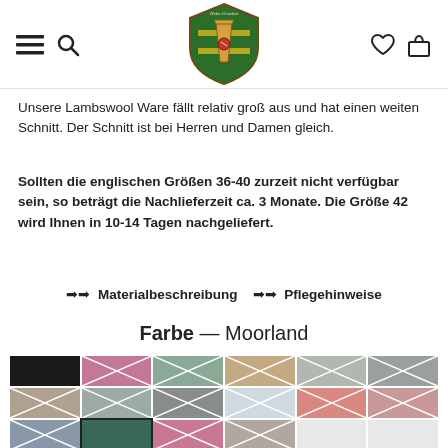Helm Crachet logo with navigation icons
Unsere Lambswool Ware fällt relativ groß aus und hat einen weiten Schnitt. Der Schnitt ist bei Herren und Damen gleich.
Sollten die englischen Größen 36-40 zurzeit nicht verfügbar sein, so beträgt die Nachlieferzeit ca. 3 Monate. Die Größe 42 wird Ihnen in 10-14 Tagen nachgeliefert.
➔➔ Materialbeschreibung  ➔➔ Pflegehinweise
Farbe — Moorland
[Figure (other): Color swatch grid showing 18 fabric color options including black, mauve/pink, sage green, tan/beige, grey, and others with X-pattern overlays indicating unavailable colors. One swatch (dark teal/moorland) is selected with a border.]